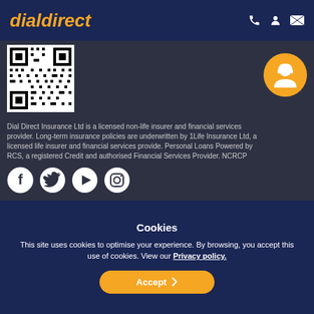dialdirect
[Figure (other): QR code image in dark background section]
[Figure (illustration): Social media icons: Facebook, Twitter, Play/Video, Instagram]
[Figure (illustration): Orange circular agent/customer service avatar button in top right of mid section]
Dial Direct Insurance Ltd is a licensed non-life insurer and financial services provider. Long-term insurance policies are underwritten by 1Life Insurance Ltd, a licensed life insurer and financial services provide. Personal Loans Powered by RCS, a registered Credit and authorised Financial Services Provider. NCRCP
Cookies
This site uses cookies to optimise your experience. By browsing, you accept this use of cookies. View our Privacy policy.